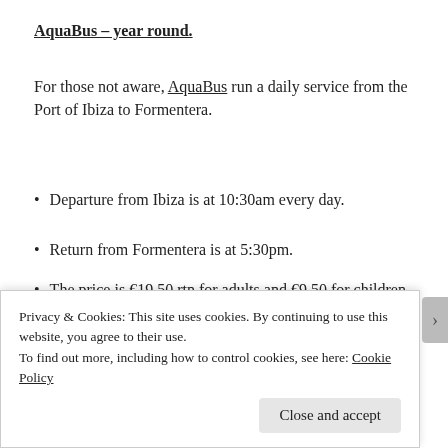AquaBus – year round.
For those not aware, AquaBus run a daily service from the Port of Ibiza to Formentera.
Departure from Ibiza is at 10:30am every day.
Return from Formentera is at 5:30pm.
The price is €19.50 rtn for adults and €9.50 for children.
[Figure (photo): Blue sky/sea image strip partially visible at bottom of main content]
Privacy & Cookies: This site uses cookies. By continuing to use this website, you agree to their use.
To find out more, including how to control cookies, see here: Cookie Policy
Close and accept